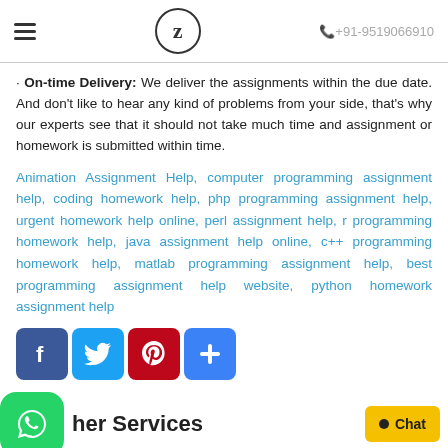≡   Z   +91-9519066910
· On-time Delivery: We deliver the assignments within the due date. And don't like to hear any kind of problems from your side, that's why our experts see that it should not take much time and assignment or homework is submitted within time.
Animation Assignment Help, computer programming assignment help, coding homework help, php programming assignment help, urgent homework help online, perl assignment help, r programming homework help, java assignment help online, c++ programming homework help, matlab programming assignment help, best programming assignment help website, python homework assignment help
[Figure (other): Social share buttons: Facebook, Twitter, Pinterest, and a share/add button]
Other Services
[Figure (other): WhatsApp contact button (green rounded square with WhatsApp logo)]
Chat